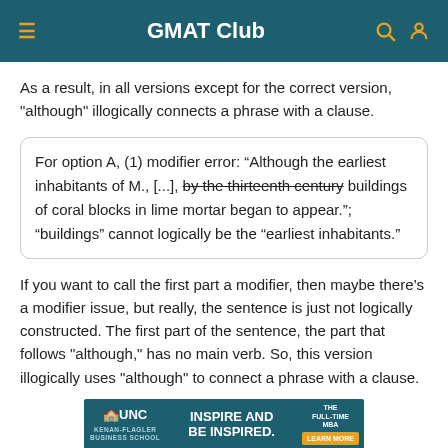GMAT Club
As a result, in all versions except for the correct version, "although" illogically connects a phrase with a clause.
For option A, (1) modifier error: “Although the earliest inhabitants of M., [...], by the thirteenth century buildings of coral blocks in lime mortar began to appear.”; “buildings” cannot logically be the “earliest inhabitants.”
If you want to call the first part a modifier, then maybe there’s a modifier issue, but really, the sentence is just not logically constructed. The first part of the sentence, the part that follows "although," has no main verb. So, this version illogically uses "although" to connect a phrase with a clause.
[Figure (infographic): UNC Kenan-Flagler Business School ad banner: INSPIRE AND BE INSPIRED. THE FULL-TIME MBA. LEARN MORE button.]